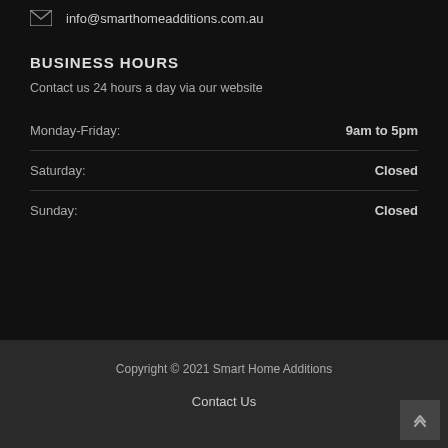info@smarthomeadditions.com.au
BUSINESS HOURS
Contact us 24 hours a day via our website
| Day | Hours |
| --- | --- |
| Monday-Friday: | 9am to 5pm |
| Saturday: | Closed |
| Sunday: | Closed |
Copyright © 2021 Smart Home Additions
Contact Us